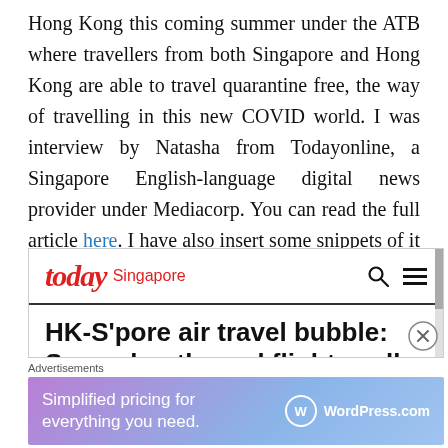Hong Kong this coming summer under the ATB where travellers from both Singapore and Hong Kong are able to travel quarantine free, the way of travelling in this new COVID world. I was interview by Natasha from Todayonline, a Singapore English-language digital news provider under Mediacorp. You can read the full article here. I have also insert some snippets of it below.
[Figure (screenshot): Screenshot of the Today Singapore website showing the article headline 'HK-S'pore air travel bubble: Several outbound flights sell out in hours' with the Today logo and navigation bar]